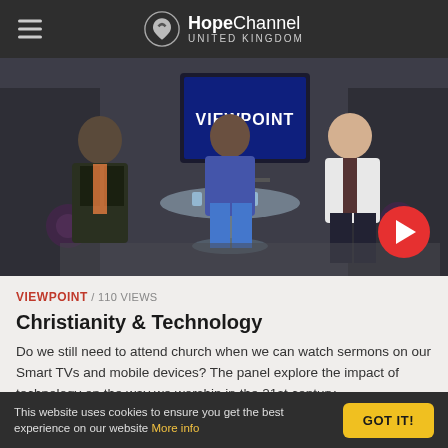HopeChannel UNITED KINGDOM
[Figure (screenshot): TV studio scene showing three people seated around a round table with a 'VIEWPOINT' screen in the background, purple ambient lighting on sides]
VIEWPOINT / 110 VIEWS
Christianity & Technology
Do we still need to attend church when we can watch sermons on our Smart TVs and mobile devices? The panel explore the impact of technology on the way we worship in the 21st century.
This website uses cookies to ensure you get the best experience on our website More info  GOT IT!